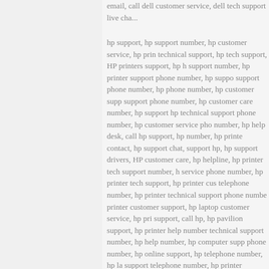email, call dell customer service, dell tech support live chat, hp support, hp support number, hp customer service, hp printer technical support, hp tech support, HP printers support, hp helpline support number, hp printer support phone number, hp support phone number, hp phone number, hp customer support phone number, hp customer care number, hp support hp technical support phone number, hp customer service phone number, hp help desk, call hp support, hp number, hp printer contact, hp support chat, support hp, hp support drivers, HP customer care, hp helpline, hp printer tech support number, hp service phone number, hp printer tech support, hp printer customer telephone number, hp printer technical support phone number, hp printer customer support, hp laptop customer service, hp printer support, call hp, hp pavilion support, hp printer help number, hp technical support number, hp help number, hp computer support phone number, hp online support, hp telephone number, hp laptop support telephone number, hp printer number, hp printer customer care, hp laptop customer service number, hp contact phone number, hp customer care number, call hp printer support, hp computer support line, hp laptop help, hp printer contact, hp printer help phone number, hp laptop technical support, hp laptop customer support contact number, hp laptop phone number, hp customer service support, call hp technical support, hp customer service hours